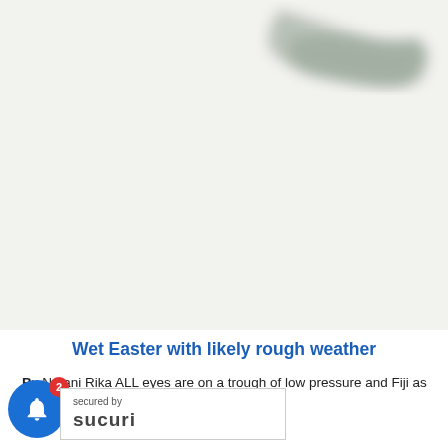[Figure (map): A blurred or faded map showing what appears to be coastlines or geographic features in light gray/green tones against a white background. The map shows portions of land masses with blurred details.]
Wet Easter with likely rough weather
By Netani Rika ALL eyes are on a trough of low pressure and Fiji as the Easter long weekend approaches.